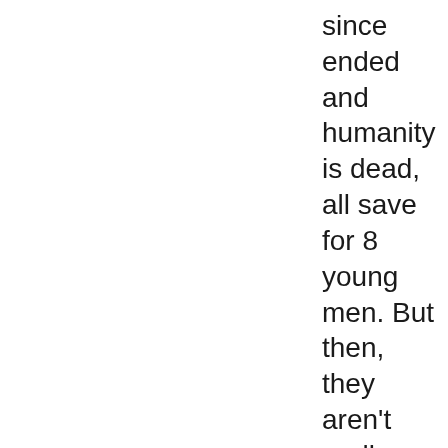since ended and humanity is dead, all save for 8 young men. But then, they aren't really human anymore."

But that makes it sound like we're dealing